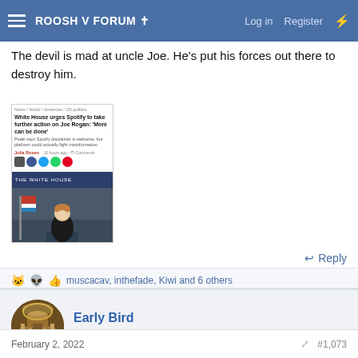ROOSH V FORUM
The devil is mad at uncle Joe. He's put his forces out there to destroy him.
[Figure (screenshot): Screenshot of a news article: 'White House urges Spotify to take further action on Joe Rogan: More can be done', showing a woman at a White House briefing podium with social media sharing icons.]
Reply
🐱👽👍 muscacav, inthefade, Kiwi and 6 others
Early Bird
Woodpecker  Catholic
February 2, 2022  #1,073